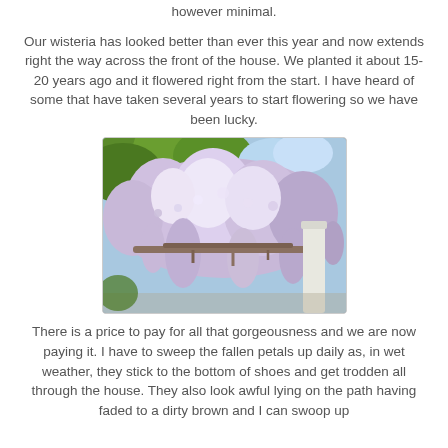however minimal.
Our wisteria has looked better than ever this year and now extends right the way across the front of the house.  We planted it about 15-20 years ago and it flowered right from the start.  I have heard of some that have taken several years to start flowering so we have been lucky.
[Figure (photo): Photograph of wisteria in bloom, showing clusters of pale purple/lavender flowers cascading down from above, with green foliage and a white pillar/column visible in the background.]
There is a price to pay for all that gorgeousness and we are now paying it.   I have to sweep the fallen petals up daily as, in wet weather, they stick to the bottom of shoes and get trodden all through the house.  They also look awful lying on the path having faded to a dirty brown and I can swoop up